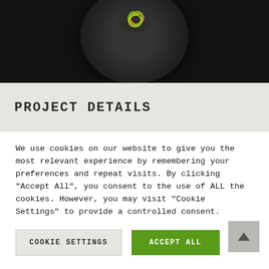[Figure (photo): Top-down view of a dark ceramic plate on a dark background, with a colorful food arrangement (green, red, orange swirl) in the center of the plate.]
PROJECT DETAILS
We use cookies on our website to give you the most relevant experience by remembering your preferences and repeat visits. By clicking "Accept All", you consent to the use of ALL the cookies. However, you may visit "Cookie Settings" to provide a controlled consent.
Cookie Settings
Accept All